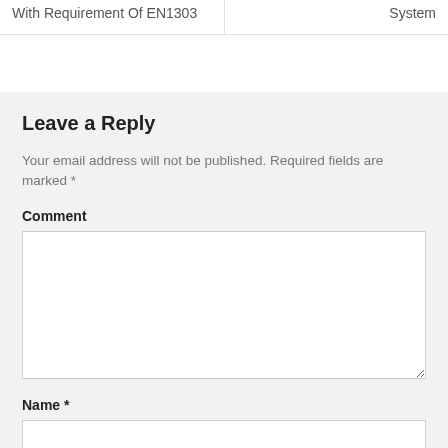With Requirement Of EN1303
System
Leave a Reply
Your email address will not be published. Required fields are marked *
Comment
Name *